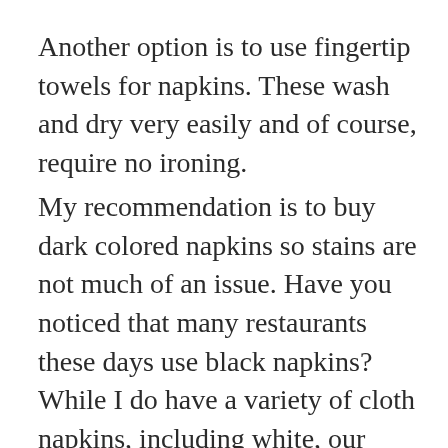Another option is to use fingertip towels for napkins. These wash and dry very easily and of course, require no ironing.
My recommendation is to buy dark colored napkins so stains are not much of an issue. Have you noticed that many restaurants these days use black napkins? While I do have a variety of cloth napkins, including white, our usual choice for a family dinner is black, as you can see in this photo: